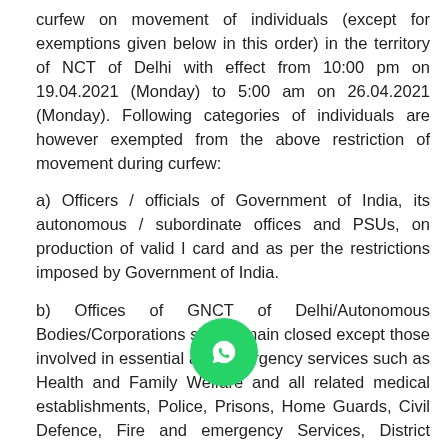curfew on movement of individuals (except for exemptions given below in this order) in the territory of NCT of Delhi with effect from 10:00 pm on 19.04.2021 (Monday) to 5:00 am on 26.04.2021 (Monday). Following categories of individuals are however exempted from the above restriction of movement during curfew:
a) Officers / officials of Government of India, its autonomous / subordinate offices and PSUs, on production of valid I card and as per the restrictions imposed by Government of India.
b) Offices of GNCT of Delhi/Autonomous Bodies/Corporations shall remain closed except those involved in essential and emergency services such as Health and Family Welfare and all related medical establishments, Police, Prisons, Home Guards, Civil Defence, Fire and emergency Services, District Administration, Pay & Account Offices, GAD, Electricity, Water and Sanitation, Public Transport (Railways / Delhi Metro / Buses) including all incidental services / activities that
[Figure (other): WhatsApp floating action button overlaid on document text]